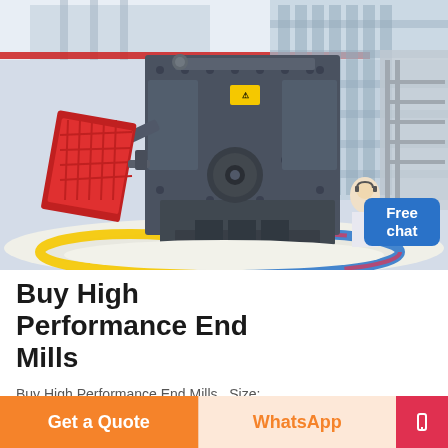[Figure (photo): Large industrial impact crusher/mill machine (dark gray, heavy steel body with bolted plates) displayed outdoors on white gravel, with industrial building and glass facade in background. A customer service representative with headset is visible in the lower right corner.]
Buy High Performance End Mills
Buy High Performance End Mills , Size:
Get a Quote
WhatsApp